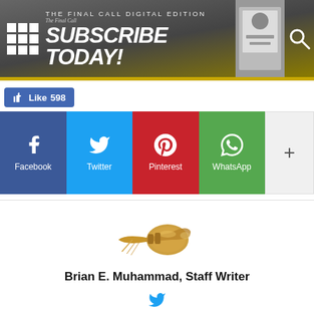[Figure (screenshot): The Final Call Digital Edition banner with 'SUBSCRIBE TODAY!' text and search icon]
Like 598
[Figure (infographic): Social sharing buttons: Facebook, Twitter, Pinterest, WhatsApp, and a more (+) button]
[Figure (illustration): A golden bugle/trumpet illustration]
Brian E. Muhammad, Staff Writer
[Figure (logo): Twitter bird icon]